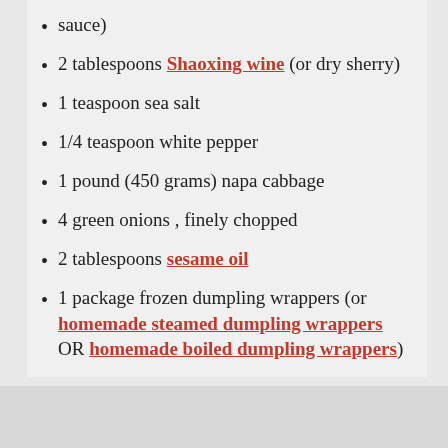sauce)
2 tablespoons Shaoxing wine (or dry sherry)
1 teaspoon sea salt
1/4 teaspoon white pepper
1 pound (450 grams) napa cabbage
4 green onions , finely chopped
2 tablespoons sesame oil
1 package frozen dumpling wrappers (or homemade steamed dumpling wrappers OR homemade boiled dumpling wrappers)